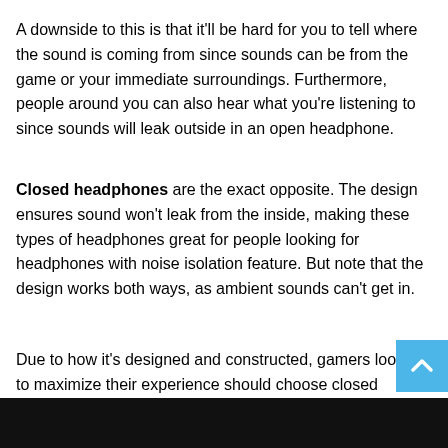A downside to this is that it'll be hard for you to tell where the sound is coming from since sounds can be from the game or your immediate surroundings. Furthermore, people around you can also hear what you're listening to since sounds will leak outside in an open headphone.
Closed headphones are the exact opposite. The design ensures sound won't leak from the inside, making these types of headphones great for people looking for headphones with noise isolation feature. But note that the design works both ways, as ambient sounds can't get in.
Due to how it's designed and constructed, gamers looking to maximize their experience should choose closed headphones over an open design for the added immersive feel.